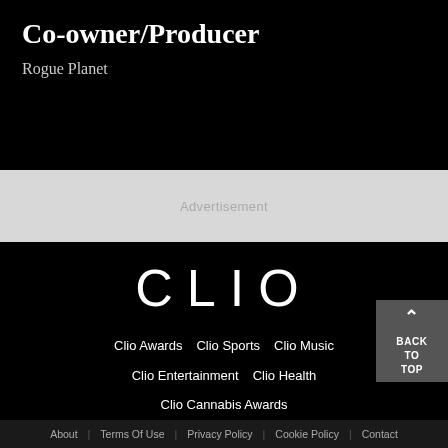Co-owner/Producer
Rogue Planet
Advertisement
[Figure (logo): CLIO wordmark logo in white on black background]
Clio Awards   Clio Sports   Clio Music   Clio Entertainment   Clio Health   Clio Cannabis Awards
© 2022 Clio Awards, LLC
About   Terms Of Use   Privacy Policy   Cookie Policy   Contact